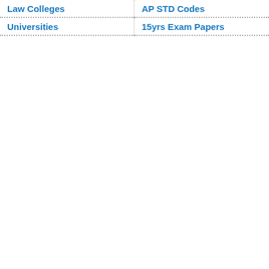Law Colleges
AP STD Codes
Universities
15yrs Exam Papers